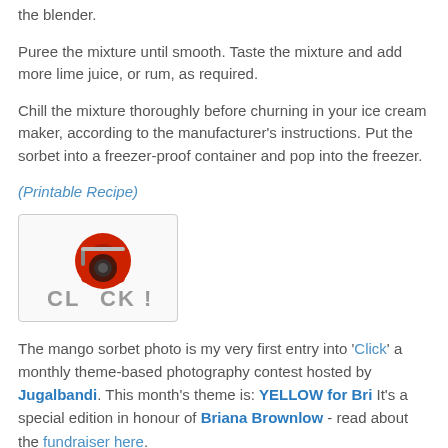the blender.
Puree the mixture until smooth. Taste the mixture and add more lime juice, or rum, as required.
Chill the mixture thoroughly before churning in your ice cream maker, according to the manufacturer's instructions. Put the sorbet into a freezer-proof container and pop into the freezer.
(Printable Recipe)
[Figure (illustration): CLICK! camera logo button with red camera icon]
The mango sorbet photo is my very first entry into 'Click' a monthly theme-based photography contest hosted by Jugalbandi. This month's theme is: YELLOW for Bri It's a special edition in honour of Briana Brownlow - read about the fundraiser here.